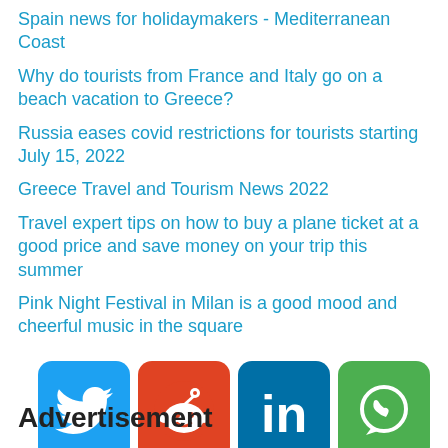Spain news for holidaymakers - Mediterranean Coast
Why do tourists from France and Italy go on a beach vacation to Greece?
Russia eases covid restrictions for tourists starting July 15, 2022
Greece Travel and Tourism News 2022
Travel expert tips on how to buy a plane ticket at a good price and save money on your trip this summer
Pink Night Festival in Milan is a good mood and cheerful music in the square
[Figure (other): Social media sharing icons: Twitter (blue), Reddit (orange-red), LinkedIn (dark blue), WhatsApp (green)]
Advertisement